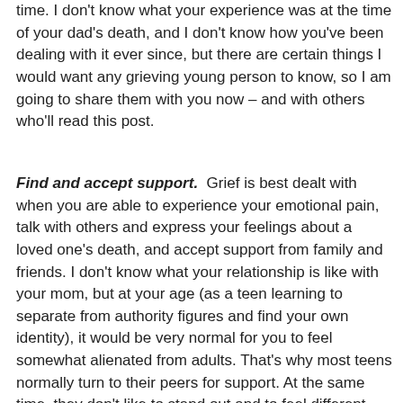time. I don't know what your experience was at the time of your dad's death, and I don't know how you've been dealing with it ever since, but there are certain things I would want any grieving young person to know, so I am going to share them with you now – and with others who'll read this post.
Find and accept support. Grief is best dealt with when you are able to experience your emotional pain, talk with others and express your feelings about a loved one's death, and accept support from family and friends. I don't know what your relationship is like with your mom, but at your age (as a teen learning to separate from authority figures and find your own identity), it would be very normal for you to feel somewhat alienated from adults. That's why most teens normally turn to their peers for support. At the same time, they don't like to stand out and to feel different from their friends – they want to belong. I can tell you that grieving teens do best when they're helped to find peers who've also experienced a death. They're often very relieved to discover they're not the only ones who've had someone close to them die.